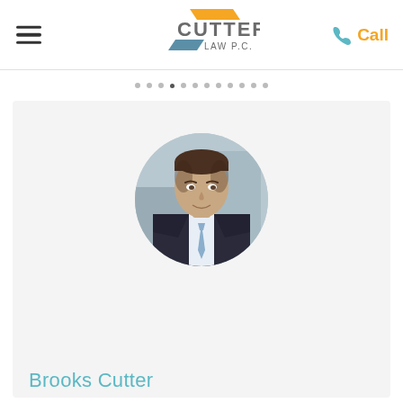Cutter Law P.C. — Navigation header with hamburger menu, logo, and Call button
[Figure (logo): Cutter Law P.C. logo with orange parallelogram above and teal parallelogram below the text CUTTER LAW P.C.]
[Figure (photo): Circular headshot photo of Brooks Cutter, a man in a dark suit with a light blue tie, smiling, professional portrait]
Brooks Cutter